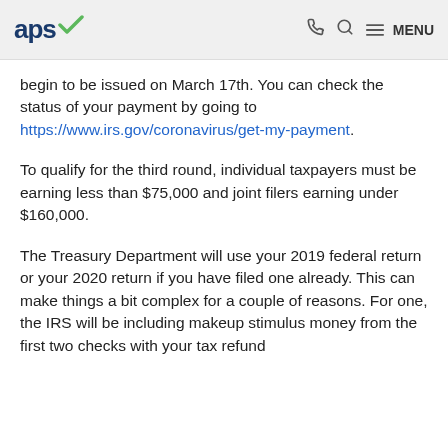aps [logo] | phone | search | MENU
begin to be issued on March 17th. You can check the status of your payment by going to https://www.irs.gov/coronavirus/get-my-payment.
To qualify for the third round, individual taxpayers must be earning less than $75,000 and joint filers earning under $160,000.
The Treasury Department will use your 2019 federal return or your 2020 return if you have filed one already. This can make things a bit complex for a couple of reasons. For one, the IRS will be including makeup stimulus money from the first two checks with your tax refund